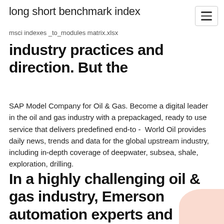long short benchmark index
msci indexes _to_modules matrix.xlsx
industry practices and direction. But the
SAP Model Company for Oil & Gas. Become a digital leader in the oil and gas industry with a prepackaged, ready to use service that delivers predefined end-to -  World Oil provides daily news, trends and data for the global upstream industry, including in-depth coverage of deepwater, subsea, shale, exploration, drilling.
In a highly challenging oil & gas industry, Emerson automation experts and solutions can help safely